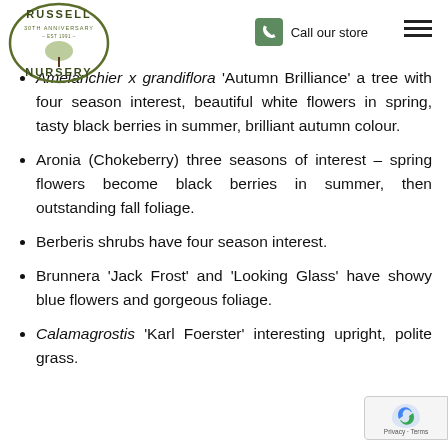Russell Nursery 30th Anniversary — Call our store
Amelanchier x grandiflora 'Autumn Brilliance' a tree with four season interest, beautiful white flowers in spring, tasty black berries in summer, brilliant autumn colour.
Aronia (Chokeberry) three seasons of interest – spring flowers become black berries in summer, then outstanding fall foliage.
Berberis shrubs have four season interest.
Brunnera 'Jack Frost' and 'Looking Glass' have showy blue flowers and gorgeous foliage.
Calamagrostis 'Karl Foerster' interesting upright, polite grass.